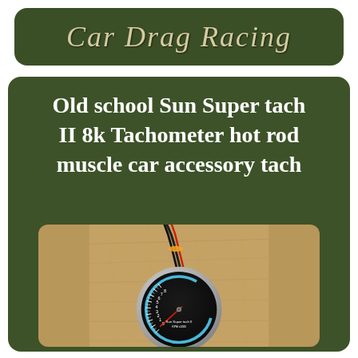Car Drag Racing
Old school Sun Super tach II 8k Tachometer hot rod muscle car accessory tach
[Figure (photo): Photo of a Sun Super Tach II tachometer gauge with chrome bezel on a wooden surface, with red and black wires bundled together on top. The gauge face is black with white numbering 0-8 (x1000 RPM) and a red needle pointing near 0. The brand name 'Sun Super tach II' is visible at the bottom of the gauge face.]